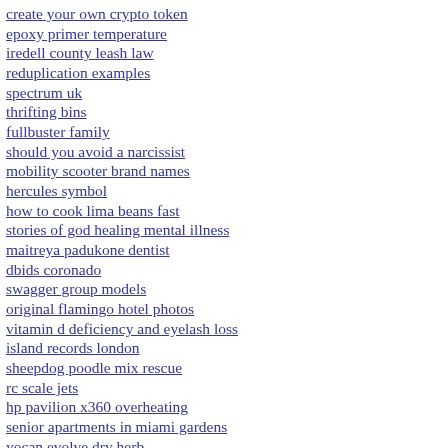create your own crypto token
epoxy primer temperature
iredell county leash law
reduplication examples
spectrum uk
thrifting bins
fullbuster family
should you avoid a narcissist
mobility scooter brand names
hercules symbol
how to cook lima beans fast
stories of god healing mental illness
maitreya padukone dentist
dbids coronado
swagger group models
original flamingo hotel photos
vitamin d deficiency and eyelash loss
island records london
sheepdog poodle mix rescue
rc scale jets
hp pavilion x360 overheating
senior apartments in miami gardens
yocan evolve dry herb
primitive online shops
leaf startup